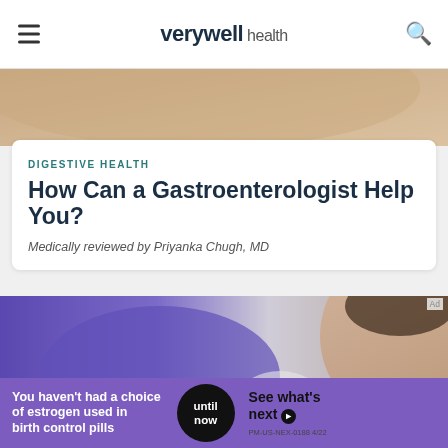verywell health
[Figure (photo): Top portion of a photo showing a person's arm/shoulder, warm skin tones]
DIGESTIVE HEALTH
How Can a Gastroenterologist Help You?
Medically reviewed by Priyanka Chugh, MD
[Figure (photo): A doctor examining a patient in a purple top using a medical device; close-up medical consultation scene]
Ad
You haven't had a choice of estrogen used in birth control pills until now See what's next PM-US-NEX-0188 4/22